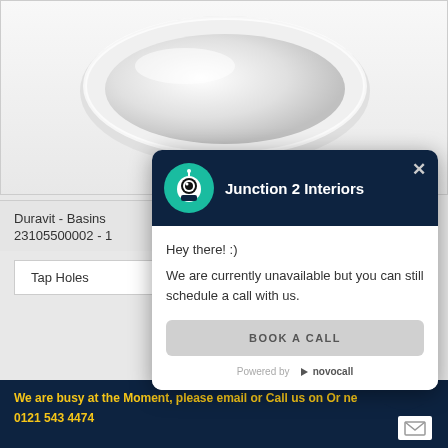[Figure (photo): White ceramic basin/sink photographed from above on white background]
Duravit - Basins
23105500002 - 1
Tap Holes
[Figure (screenshot): Chat popup widget from Junction 2 Interiors with robot avatar, message saying 'Hey there! :) We are currently unavailable but you can still schedule a call with us.' and a 'BOOK A CALL' button. Powered by novocall.]
We are busy at the Moment, please email or Call us on Or... ...ne
0121 543 4474